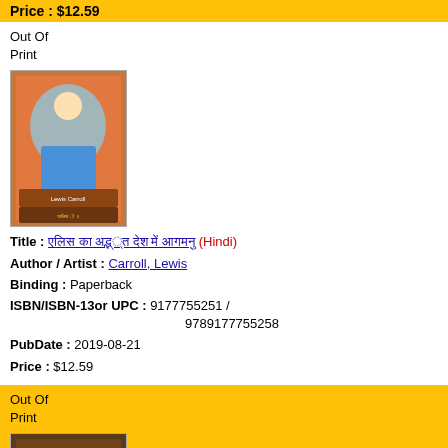Price : $12.59
Out Of Print
[Figure (photo): Book cover image for Hindi edition - Alice in Wonderland, orange/blue illustrated cover with Hindi text]
Title : [Hindi title] (Hindi)
Author / Artist : Carroll, Lewis
Binding : Paperback
ISBN/ISBN-13or UPC : 9177755251 / 9789177755258
PubDate : 2019-08-21
Price : $12.59
Out Of Print
[Figure (photo): Book cover image for Bengali edition - dark illustrated cover with Bengali text]
Title : [Bengali title]& (Bengali)